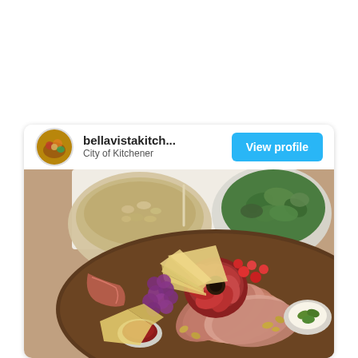[Figure (screenshot): Instagram-style social media card for 'bellavistakitch...' located in City of Kitchener, with a View Profile button and a food photo showing a charcuterie/grazing board with meats, cheeses, grapes, and two bowls of salad and grain.]